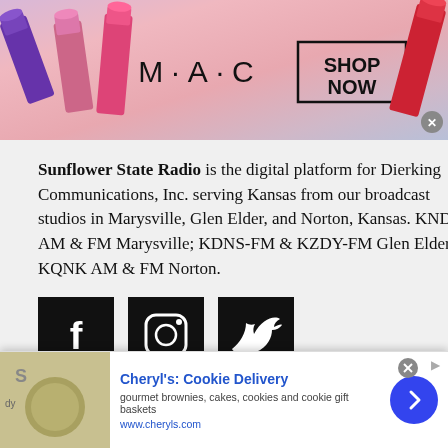[Figure (photo): MAC cosmetics advertisement banner with lipsticks in purple, pink colors on left and right sides, MAC logo text in center, and a 'SHOP NOW' box with border]
Sunflower State Radio is the digital platform for Dierking Communications, Inc. serving Kansas from our broadcast studios in Marysville, Glen Elder, and Norton, Kansas. KNDY AM & FM Marysville; KDNS-FM & KZDY-FM Glen Elder; KQNK AM & FM Norton.
[Figure (other): Three black square social media icon buttons: Facebook (f), Instagram (circle camera icon), Twitter (bird icon)]
FCC PUBLIC FILES:
[Figure (photo): Cheryl's Cookie Delivery advertisement with food image on left, title 'Cheryl's: Cookie Delivery', description 'gourmet brownies, cakes, cookies and cookie gift baskets', URL www.cheryls.com, and a blue circular arrow button]